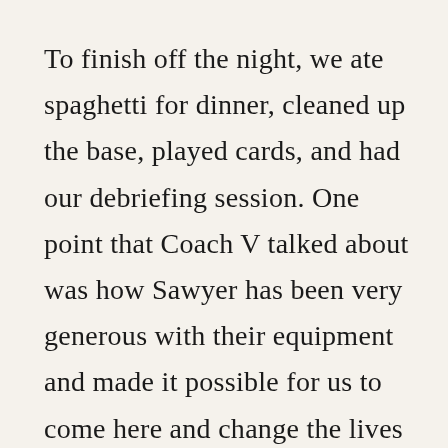To finish off the night, we ate spaghetti for dinner, cleaned up the base, played cards, and had our debriefing session. One point that Coach V talked about was how Sawyer has been very generous with their equipment and made it possible for us to come here and change the lives of many. She hoped that one day we can take what we have learned with our time here and can apply it in our future lives to keep changing the world for the